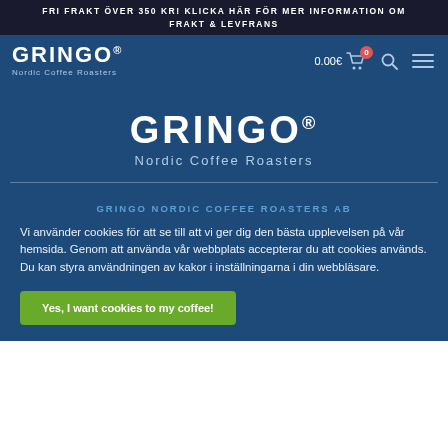FRI FRAKT ÖVER 350 KR! KLICKA HÄR FÖR MER INFORMATION OM FRAKT & LEVFRANS
[Figure (logo): GRINGO Nordic Coffee Roasters logo in white on dark blue background, with navigation icons including cart showing 0.00€, search, and hamburger menu]
GRINGO® Nordic Coffee Roasters
GRINGO NORDIC COFFEE ROASTERS AB
Vi använder cookies för att se till att vi ger dig den bästa upplevelsen på vår hemsida. Genom att använda vår webbplats accepterar du att cookies används. Du kan styra användningen av kakor i inställningarna i din webbläsare.
Yes, I want cookies to my coffee!